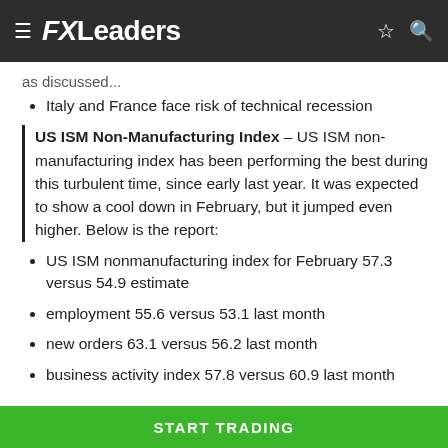FXLeaders
…as discussed…
Italy and France face risk of technical recession
US ISM Non-Manufacturing Index – US ISM non-manufacturing index has been performing the best during this turbulent time, since early last year. It was expected to show a cool down in February, but it jumped even higher. Below is the report:
US ISM nonmanufacturing index for February 57.3 versus 54.9 estimate
employment 55.6 versus 53.1 last month
new orders 63.1 versus 56.2 last month
business activity index 57.8 versus 60.9 last month
START TRADING